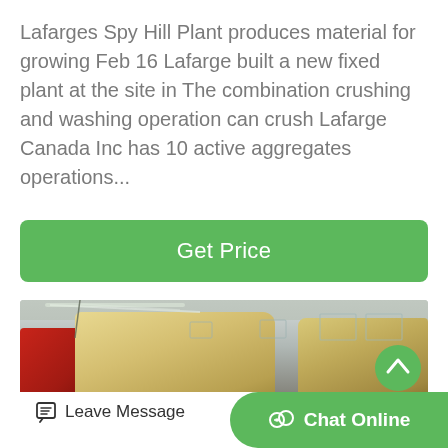Lafarges Spy Hill Plant produces material for growing Feb 16 Lafarge built a new fixed plant at the site in The combination crushing and washing operation can crush Lafarge Canada Inc has 10 active aggregates operations...
Get Price
[Figure (photo): Interior of a large industrial warehouse or factory building showing heavy mining/crushing machinery. Large yellow/cream colored equipment (possibly a crusher or similar aggregate processing machine) with red components visible on the left. The building has a metal roof structure with fluorescent lighting strips and grey metal walls with windows.]
Leave Message
Chat Online